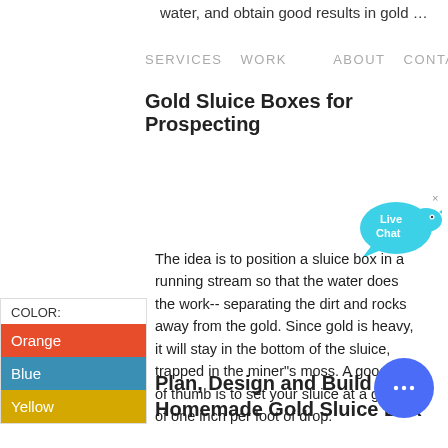water, and obtain good results in gold …
SERVICES  WORK      ABOUT  CONTACT
Gold Sluice Boxes for Prospecting
[Figure (illustration): Live Chat bubble icon in cyan/blue]
The idea is to position a sluice box in a running stream so that the water does the work-- separating the dirt and rocks away from the gold. Since gold is heavy, it will stay in the bottom of the sluice, trapped in the miner"s moss. A good rule of thumb is to set your sluice at a grade of one inch per foot of drop.
| COLOR: |
| --- |
| Orange |
| Blue |
| Yellow |
[Figure (illustration): Blue circular chat button with ellipsis icon]
Plan, Design and Build a Homemade Gold Sluice Box